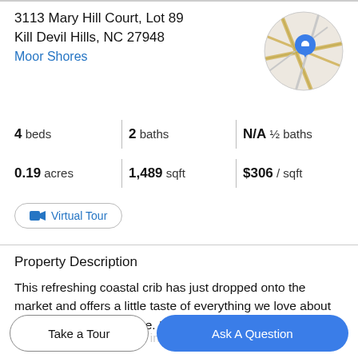3113 Mary Hill Court, Lot 89
Kill Devil Hills, NC 27948
Moor Shores
[Figure (map): Circular map thumbnail with road lines and a blue location pin marker in the center]
4 beds | 2 baths | N/A ½ baths
0.19 acres | 1,489 sqft | $306 / sqft
Virtual Tour
Property Description
This refreshing coastal crib has just dropped onto the market and offers a little taste of everything we love about Outer Banks Architecture. It has unique flair that your
clients will LOVE and its incredible west side Cul de Sac
Take a Tour
Ask A Question